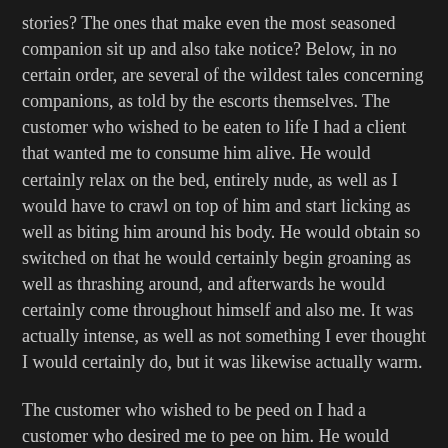stories? The ones that make even the most seasoned companion sit up and also take notice? Below, in no certain order, are several of the wildest tales concerning companions, as told by the escorts themselves. The customer who wished to be eaten to life I had a client that wanted me to consume him alive. He would certainly relax on the bed, entirely nude, as well as I would have to crawl on top of him and start licking as well as biting him around his body. He would obtain so switched on that he would certainly begin groaning as well as thrashing around, and afterwards he would certainly come throughout himself and also me. It was actually intense, as well as not something I ever thought I would certainly do, but it was likewise actually warm.
The customer who wished to be peed on I had a customer who desired me to pee on him. He would certainly get completely naked and also relax on the floor, and I would